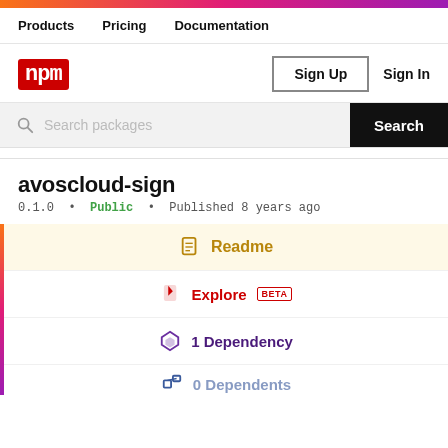npm - top gradient bar
Products  Pricing  Documentation
[Figure (logo): npm logo in red square]
Sign Up  Sign In
Search packages  Search
avoscloud-sign
0.1.0 • Public • Published 8 years ago
Readme
Explore BETA
1 Dependency
0 Dependents